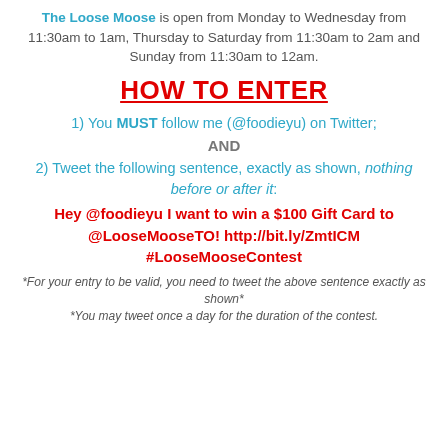The Loose Moose is open from Monday to Wednesday from 11:30am to 1am, Thursday to Saturday from 11:30am to 2am and Sunday from 11:30am to 12am.
HOW TO ENTER
1) You MUST follow me (@foodieyu) on Twitter;
AND
2) Tweet the following sentence, exactly as shown, nothing before or after it:
Hey @foodieyu I want to win a $100 Gift Card to @LooseMooseTO! http://bit.ly/ZmtICM #LooseMooseContest
*For your entry to be valid, you need to tweet the above sentence exactly as shown* *You may tweet once a day for the duration of the contest.